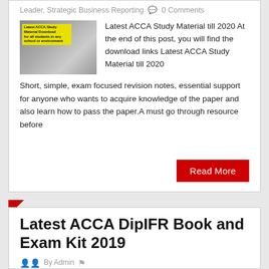Leader, Strategic Business Reporting  0 Comments
Latest ACCA Study Material till 2020 At the end of this post, you will find the download links Latest ACCA Study Material till 2020 Short, simple, exam focused revision notes, essential support for anyone who wants to acquire knowledge of the paper and also learn how to pass the paper.A must go through resource before
Read More
Latest ACCA DipIFR Book and Exam Kit 2019
By Admin   ACCA, ACCA F7 Financial Reporting, ACCA P2 Corporate Reporting (UK or International), IAS, IFRS, PDF